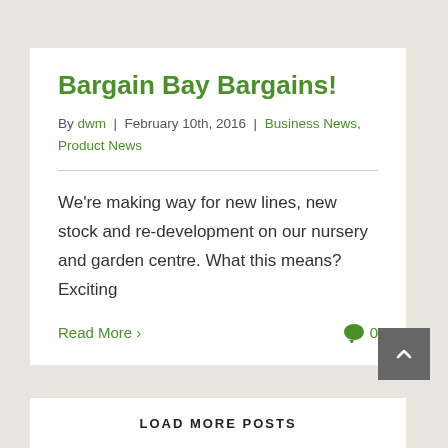Bargain Bay Bargains!
By dwm | February 10th, 2016 | Business News, Product News
We're making way for new lines, new stock and re-development on our nursery and garden centre. What this means? Exciting
Read More > 0
LOAD MORE POSTS